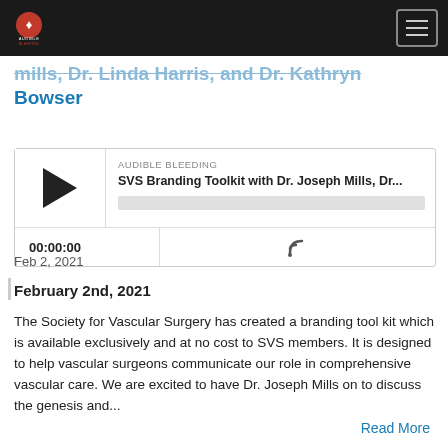Audible Bleeding
mills, Dr. Linda Harris, and Dr. Kathryn Bowser
[Figure (screenshot): Podcast player widget showing AUDIBLE BLEEDING label, episode title 'SVS Branding Toolkit with Dr. Joseph Mills, Dr...', play button, progress bar, timestamp 00:00:00, and RSS feed icon]
Feb 2, 2021
February 2nd, 2021
The Society for Vascular Surgery has created a branding tool kit which is available exclusively and at no cost to SVS members. It is designed to help vascular surgeons communicate our role in comprehensive vascular care. We are excited to have Dr. Joseph Mills on to discuss the genesis and...
Read More